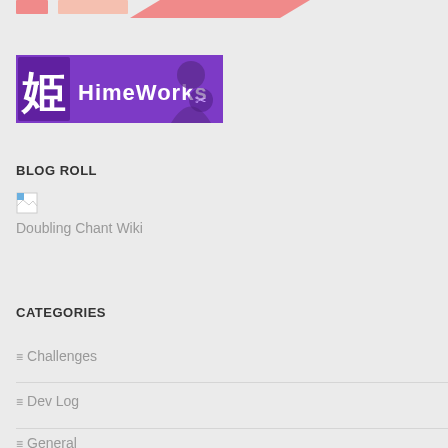[Figure (logo): HimeWorks logo banner with purple background, kanji character 姫, and text 'HimeWorks' in white with anime-style illustration]
BLOG ROLL
[Figure (other): Broken image placeholder icon (small square with blue corner)]
Doubling Chant Wiki
CATEGORIES
Challenges
Dev Log
General